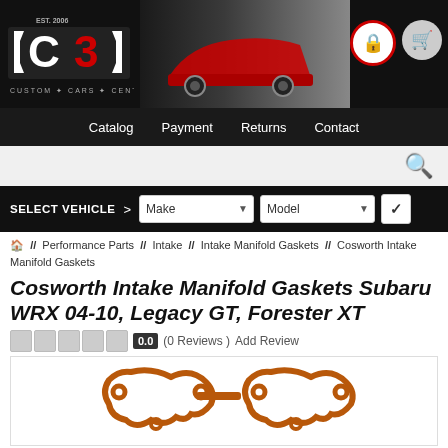[Figure (logo): Custom Cars Central (C3) logo with EST. 2006, red car silhouette in background, lock and cart icons]
Catalog  Payment  Returns  Contact
Search icon
SELECT VEHICLE >  Make  Model  ✓
🏠 //  Performance Parts // Intake // Intake Manifold Gaskets // Cosworth Intake Manifold Gaskets
Cosworth Intake Manifold Gaskets Subaru WRX 04-10, Legacy GT, Forester XT
0.0  (0 Reviews )  Add Review
[Figure (photo): Cosworth intake manifold gaskets product photo showing orange/copper colored gaskets on white background]